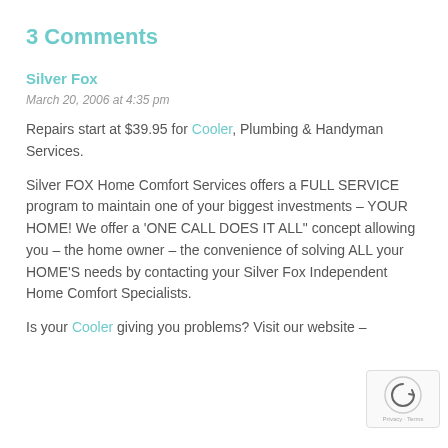3 Comments
Silver Fox
March 20, 2006 at 4:35 pm
Repairs start at $39.95 for Cooler, Plumbing & Handyman Services.
Silver FOX Home Comfort Services offers a FULL SERVICE program to maintain one of your biggest investments – YOUR HOME! We offer a 'ONE CALL DOES IT ALL" concept allowing you – the home owner – the convenience of solving ALL your HOME'S needs by contacting your Silver Fox Independent Home Comfort Specialists.
Is your Cooler giving you problems? Visit our website –